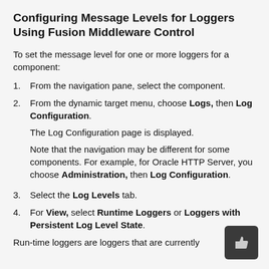Configuring Message Levels for Loggers Using Fusion Middleware Control
To set the message level for one or more loggers for a component:
1. From the navigation pane, select the component.
2. From the dynamic target menu, choose Logs, then Log Configuration. The Log Configuration page is displayed. Note that the navigation may be different for some components. For example, for Oracle HTTP Server, you choose Administration, then Log Configuration.
3. Select the Log Levels tab.
4. For View, select Runtime Loggers or Loggers with Persistent Log Level State.
Run-time loggers are loggers that are currently